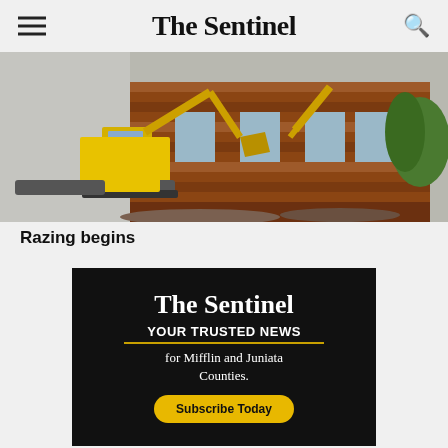The Sentinel
[Figure (photo): Demolition scene showing yellow excavators tearing down a brick building]
Razing begins
[Figure (infographic): The Sentinel advertisement: YOUR TRUSTED NEWS for Mifflin and Juniata Counties. Subscribe Today button.]